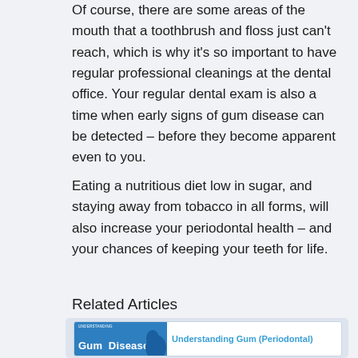Of course, there are some areas of the mouth that a toothbrush and floss just can't reach, which is why it's so important to have regular professional cleanings at the dental office. Your regular dental exam is also a time when early signs of gum disease can be detected – before they become apparent even to you.
Eating a nutritious diet low in sugar, and staying away from tobacco in all forms, will also increase your periodontal health – and your chances of keeping your teeth for life.
Related Articles
[Figure (other): Related article card showing a blue book cover with 'Understanding Gum Disease' text and a link titled 'Understanding Gum (Periodontal)']